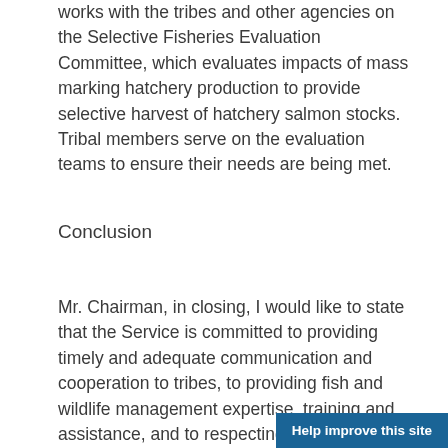works with the tribes and other agencies on the Selective Fisheries Evaluation Committee, which evaluates impacts of mass marking hatchery production to provide selective harvest of hatchery salmon stocks. Tribal members serve on the evaluation teams to ensure their needs are being met.
Conclusion
Mr. Chairman, in closing, I would like to state that the Service is committed to providing timely and adequate communication and cooperation to tribes, to providing fish and wildlife management expertise, training and assistance, and to respecting and utilizing the traditional knowledge, experience, and perspectives of Native Americans in managing fish and wildlife resources. In order to accomplish this, we are committed to developing good working relationships and partnerships with Native